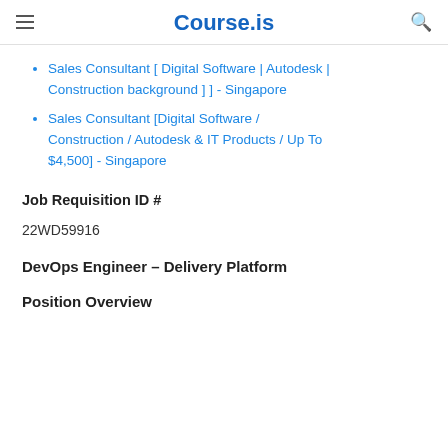Course.is
Sales Consultant [ Digital Software | Autodesk | Construction background ] ] - Singapore
Sales Consultant [Digital Software / Construction / Autodesk & IT Products / Up To $4,500] - Singapore
Job Requisition ID #
22WD59916
DevOps Engineer – Delivery Platform
Position Overview